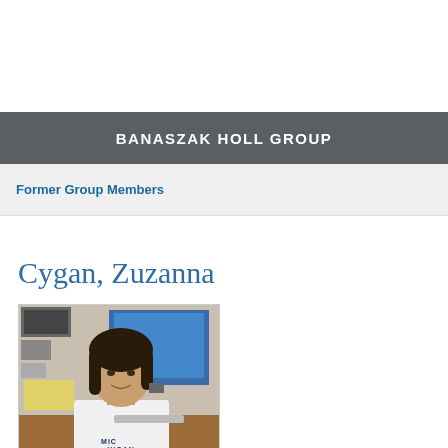BANASZAK HOLL GROUP
Former Group Members
Cygan, Zuzanna
[Figure (photo): Photo of Zuzanna Cygan, a young woman with dark shoulder-length hair, wearing a white Michigan t-shirt, seated at a desk with computer equipment and a blue monitor in the background.]